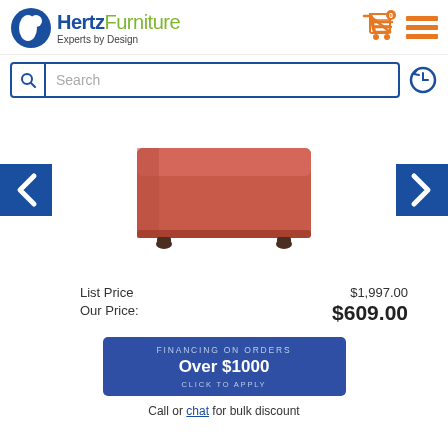[Figure (logo): Hertz Furniture logo with blue circle icon and text 'Hertz Furniture Experts by Design']
[Figure (screenshot): Search bar with magnifying glass icon and placeholder text 'Search', with history icon to the right]
[Figure (photo): Red/coral colored rectangular ottoman with dark legs, shown on white background]
List Price   $1,997.00
Our Price:   $609.00
[Figure (infographic): Dark blue button: 'FINANCING ON ORDERS Over $1000 CLICK TO APPLY']
Call or chat for bulk discount